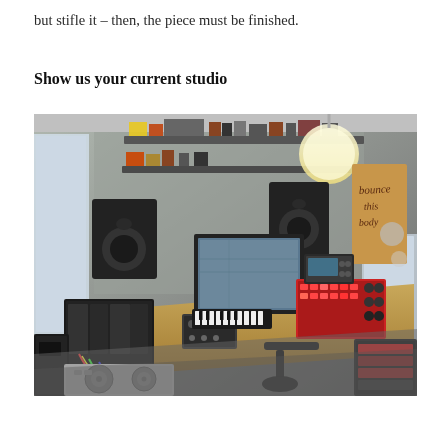but stifle it – then, the piece must be finished.
Show us your current studio
[Figure (photo): A music production studio showing a wooden desk with a computer monitor, modular synthesizer, various electronic music equipment, studio monitor speakers, shelving with music gear, a chair, and handwritten signage on the wall.]